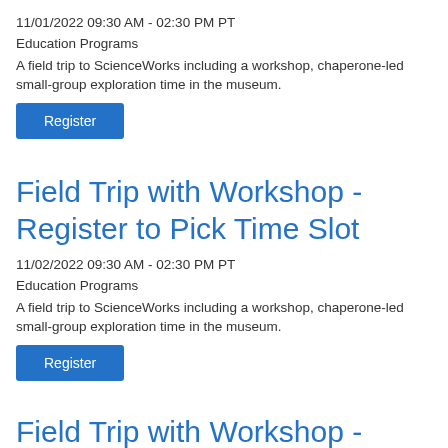11/01/2022 09:30 AM - 02:30 PM PT
Education Programs
A field trip to ScienceWorks including a workshop, chaperone-led small-group exploration time in the museum.
Register
Field Trip with Workshop - Register to Pick Time Slot
11/02/2022 09:30 AM - 02:30 PM PT
Education Programs
A field trip to ScienceWorks including a workshop, chaperone-led small-group exploration time in the museum.
Register
Field Trip with Workshop -